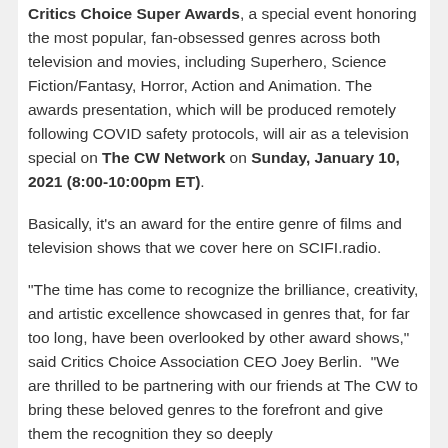Critics Choice Super Awards, a special event honoring the most popular, fan-obsessed genres across both television and movies, including Superhero, Science Fiction/Fantasy, Horror, Action and Animation. The awards presentation, which will be produced remotely following COVID safety protocols, will air as a television special on The CW Network on Sunday, January 10, 2021 (8:00-10:00pm ET).
Basically, it’s an award for the entire genre of films and television shows that we cover here on SCIFI.radio.
“The time has come to recognize the brilliance, creativity, and artistic excellence showcased in genres that, for far too long, have been overlooked by other award shows,” said Critics Choice Association CEO Joey Berlin. “We are thrilled to be partnering with our friends at The CW to bring these beloved genres to the forefront and give them the recognition they so deeply